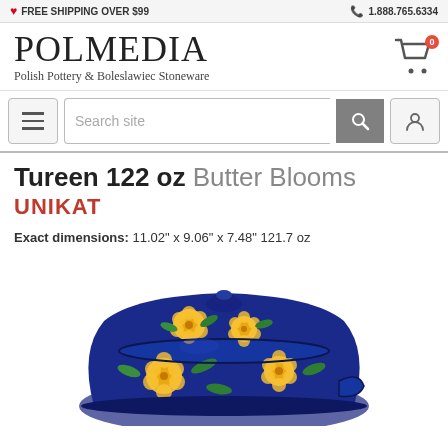FREE SHIPPING OVER $99   1.888.765.6334
POLMEDIA
Polish Pottery & Boleslawiec Stoneware
Search site
Tureen 122 oz Butter Blooms UNIKAT
Exact dimensions: 11.02" x 9.06" x 7.48" 121.7 oz
[Figure (photo): Polish pottery tureen with lid, dark blue glaze with yellow floral (butter blooms) decoration and green leaves, UNIKAT style]